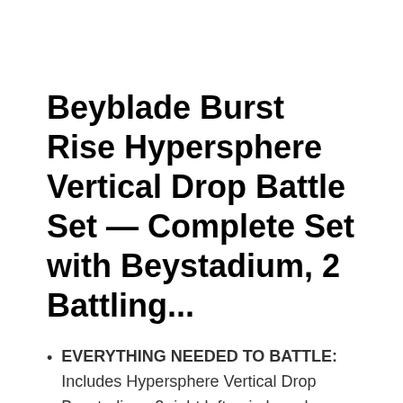Beyblade Burst Rise Hypersphere Vertical Drop Battle Set — Complete Set with Beystadium, 2 Battling...
EVERYTHING NEEDED TO BATTLE: Includes Hypersphere Vertical Drop Beystadium, 2 right left-spin launchers, and right-spin battling tops Ace Dragon D5...
DROP IN TO VICTORY: Get the drop on your opponents with Hypersphere tech. Climb the vertical wall of the Beystadium to reach the brink, then drop in...